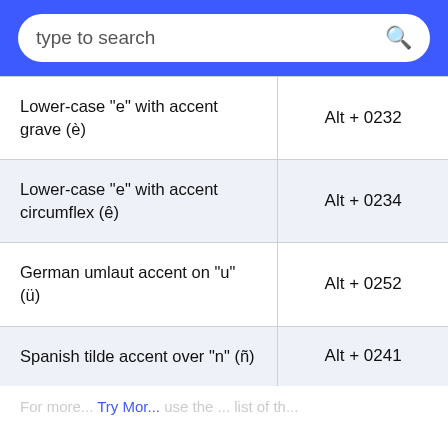type to search
| Description | Shortcut |
| --- | --- |
| Lower-case "e" with accent grave (è) | Alt + 0232 |
| Lower-case "e" with accent circumflex (ê) | Alt + 0234 |
| German umlaut accent on "u" (ü) | Alt + 0252 |
| Spanish tilde accent over "n" (ñ) | Alt + 0241 |
For more... Try Mor... use the ... list of th...